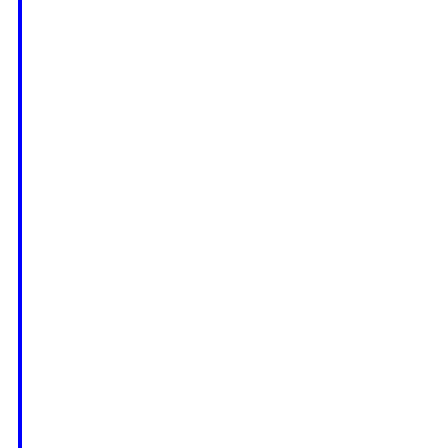The advert was filmed at a parish church and a meeting in a vicarage, joking about the long- surprise each other by picking identical knee
Zubeir was put forward for the advert by his
The former postman who worked for Royal M with the advert's positive message which pro
"The message that went to the world and the
Zubeir, who is a director of the Muslim Buria the advert had turned him into a celebrity, wi
On one occasion he was stopped at an airpo travelling to Mecca.
Zubeir, who has been involved in working wi meeting the Queen for a second time when s been invited to have lunch with her.
He first met the Queen in 2013 on behalf of his wife Yasmin to a garden party given by th Princess Royal.
He added: "I am looking forward very much t school found out they were all very excited fo